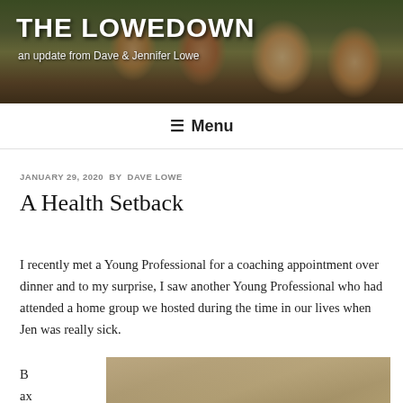THE LOWEDOWN
an update from Dave & Jennifer Lowe
Menu
JANUARY 29, 2020 BY DAVE LOWE
A Health Setback
I recently met a Young Professional for a coaching appointment over dinner and to my surprise, I saw another Young Professional who had attended a home group we hosted during the time in our lives when Jen was really sick.
B
ax
[Figure (photo): Partial view of an indoor restaurant or cafe interior with visible ceiling and warm lighting]